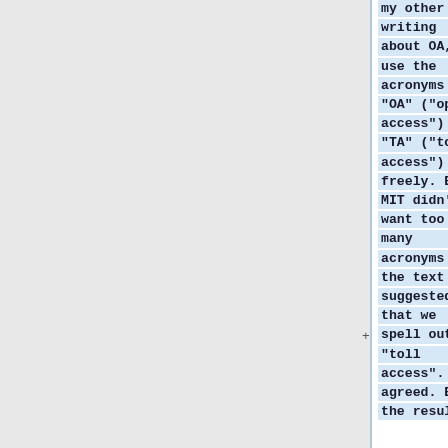my other writing about OA, I use the acronyms "OA" ("open access") and "TA" ("toll access") freely. But MIT didn't want too many acronyms in the text and suggested that we spell out "toll access". I agreed. But the result